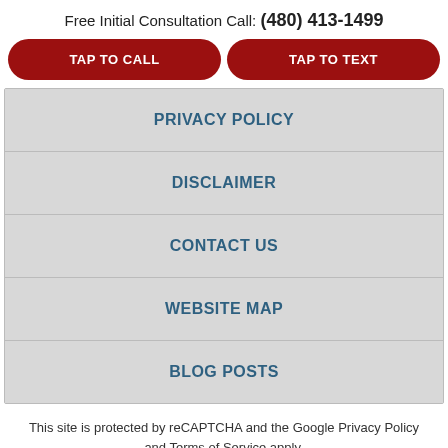Free Initial Consultation Call: (480) 413-1499
TAP TO CALL
TAP TO TEXT
PRIVACY POLICY
DISCLAIMER
CONTACT US
WEBSITE MAP
BLOG POSTS
This site is protected by reCAPTCHA and the Google Privacy Policy and Terms of Service apply.